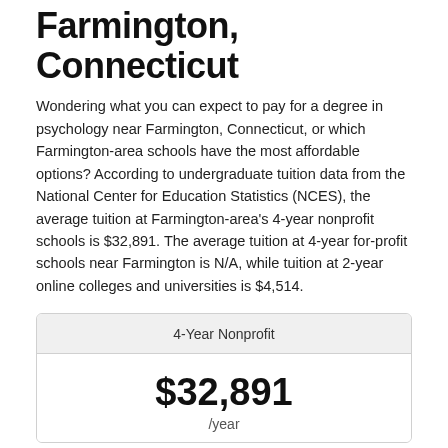Farmington, Connecticut
Wondering what you can expect to pay for a degree in psychology near Farmington, Connecticut, or which Farmington-area schools have the most affordable options? According to undergraduate tuition data from the National Center for Education Statistics (NCES), the average tuition at Farmington-area's 4-year nonprofit schools is $32,891. The average tuition at 4-year for-profit schools near Farmington is N/A, while tuition at 2-year online colleges and universities is $4,514.
| 4-Year Nonprofit |
| --- |
| $32,891 | /year |